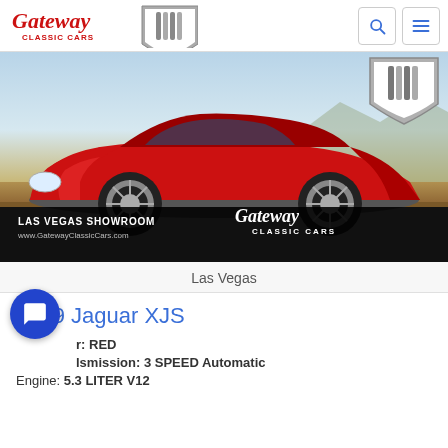Gateway Classic Cars logo with search and menu icons
[Figure (photo): Red 1989 Jaguar XJS coupe photographed outdoors in a desert setting, with Las Vegas Showroom branding overlay at the bottom]
Las Vegas
1989 Jaguar XJS
Color: RED
Transmission: 3 SPEED Automatic
Engine: 5.3 LITER V12